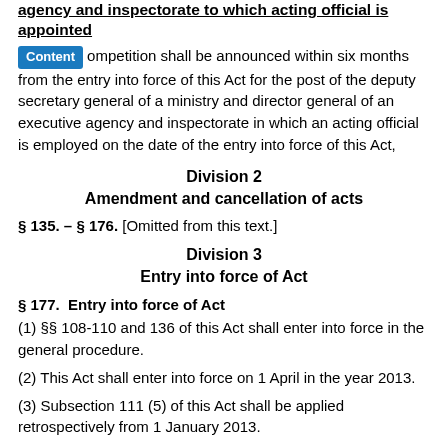agency and inspectorate to which acting official is appointed
Content competition shall be announced within six months from the entry into force of this Act for the post of the deputy secretary general of a ministry and director general of an executive agency and inspectorate in which an acting official is employed on the date of the entry into force of this Act,
Division 2
Amendment and cancellation of acts
§ 135. – § 176. [Omitted from this text.]
Division 3
Entry into force of Act
§ 177.  Entry into force of Act
(1) §§ 108-110 and 136 of this Act shall enter into force in the general procedure.
(2) This Act shall enter into force on 1 April in the year 2013.
(3) Subsection 111 (5) of this Act shall be applied retrospectively from 1 January 2013.
[RT I, 26.03.2013, 1 - entry into force 01.04.2013]